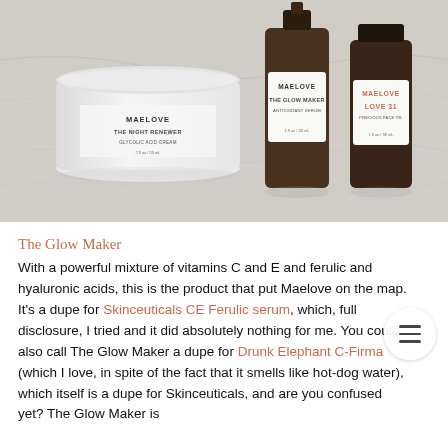[Figure (photo): Three Maelove skincare products on a marble surface: a white jar labeled 'MAELOVE THE NIGHT RENEWER GLYCOLIC ACID CREAM 2fl oz/59ml', a dark amber dropper bottle labeled 'MAELOVE THE GLOW MAKER ANTIOXIDANT SERUM 1fl oz/30ml', and a dark amber bottle labeled 'MAELOVE LOVE 31 PRECIOUS FACE OIL 1fl oz/30ml'.]
The Glow Maker
With a powerful mixture of vitamins C and E and ferulic and hyaluronic acids, this is the product that put Maelove on the map. It's a dupe for Skinceuticals CE Ferulic serum, which, full disclosure, I tried and it did absolutely nothing for me. You could also call The Glow Maker a dupe for Drunk Elephant C-Firma (which I love, in spite of the fact that it smells like hot-dog water), which itself is a dupe for Skinceuticals, and are you confused yet? The Glow Maker is